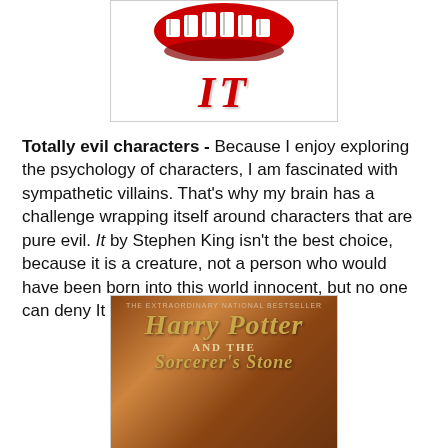[Figure (illustration): Book cover of 'IT' by Stephen King showing a red stylized 'IT' text with teeth/mouth imagery above it on white background]
Totally evil characters - Because I enjoy exploring the psychology of characters, I am fascinated with sympathetic villains. That's why my brain has a challenge wrapping itself around characters that are pure evil. It by Stephen King isn't the best choice, because it is a creature, not a person who would have been born into this world innocent, but no one can deny It is totally evil.
[Figure (illustration): Book cover of Harry Potter and the Sorcerer's Stone showing the title in golden stylized font on a warm brown/orange background]